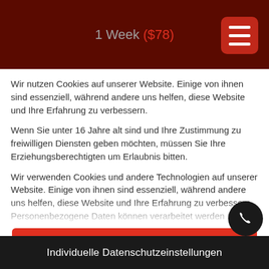1 Week ($78)
Wir nutzen Cookies auf unserer Website. Einige von ihnen sind essenziell, während andere uns helfen, diese Website und Ihre Erfahrung zu verbessern.
Wenn Sie unter 16 Jahre alt sind und Ihre Zustimmung zu freiwilligen Diensten geben möchten, müssen Sie Ihre Erziehungsberechtigten um Erlaubnis bitten.
Wir verwenden Cookies und andere Technologien auf unserer Website. Einige von ihnen sind essenziell, während andere uns helfen, diese Website und Ihre Erfahrung zu verbessern. Personenbezogene Daten können verarbeitet werden (z. B. IP-Adressen), z. B. für personalisierte Anzeigen und Inhalte oder
| Nur essenzielle Cookies akzeptieren
Ich akzeptiere
Individuelle Datenschutzeinstellungen